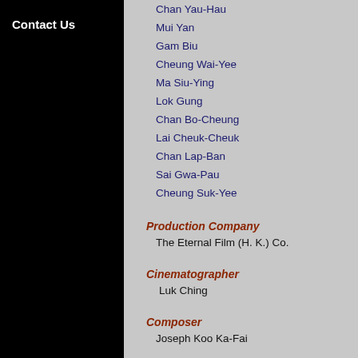Contact Us
Chan Yau-Hau
Mui Yan
Gam Biu
Cheung Wai-Yee
Ma Siu-Ying
Lok Gung
Chan Bo-Cheung
Lai Cheuk-Cheuk
Chan Lap-Ban
Sai Gwa-Pau
Cheung Suk-Yee
Production Company
The Eternal Film (H. K.) Co.
Cinematographer
Luk Ching
Composer
Joseph Koo Ka-Fai